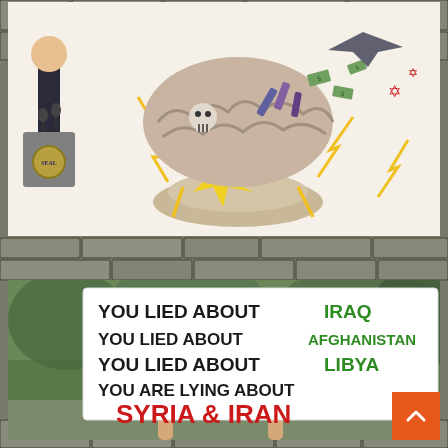[Figure (illustration): Political cartoon showing an explosion with skulls, weapons, money, rockets, and lightning bolts erupting from a mushroom cloud. A figure stands to the left near a podium or lectern with insignia.]
[Figure (photo): Photograph of a protest sign being held up, with stone wall background. The sign reads: 'You Lied About IRAQ / You Lied About AFGHANISTAN / You Lied About LIBYA / You Are Lying About / SYRIA & IRAN' with country names in green except Syria & Iran which are in red.]